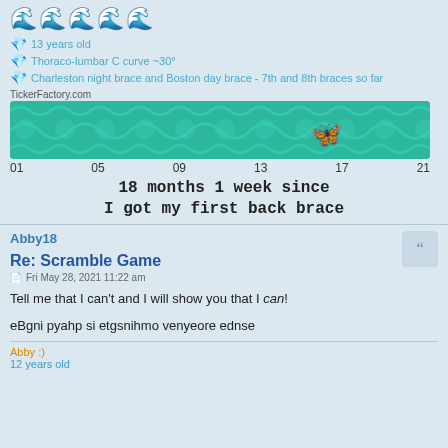🌊🌊🌊🌊🌊
💎 13 years old
💎 Thoraco-lumbar C curve ~30°
💎 Charleston night brace and Boston day brace - 7th and 8th braces so far
[Figure (infographic): TickerFactory.com ticker showing 18 months 1 week since I got my first back brace, with teal wave pattern and butterfly at position 17]
Abby18
Re: Scramble Game
Fri May 28, 2021 11:22 am
Tell me that I can't and I will show you that I can!
eBgni pyahp si etgsnihmo venyeore ednse
Abby :)
12 years old